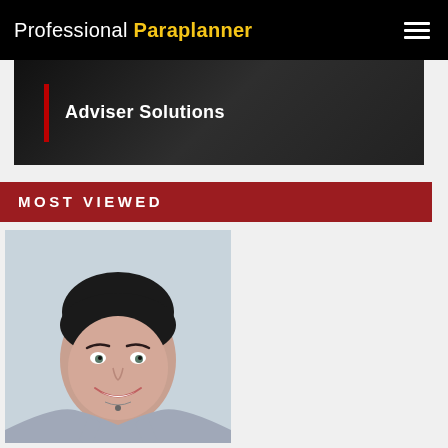Professional Paraplanner
[Figure (photo): Adviser Solutions banner with dark background and red vertical bar]
MOST VIEWED
[Figure (photo): Professional headshot of a woman with short dark hair, smiling, wearing a grey tank top and necklace]